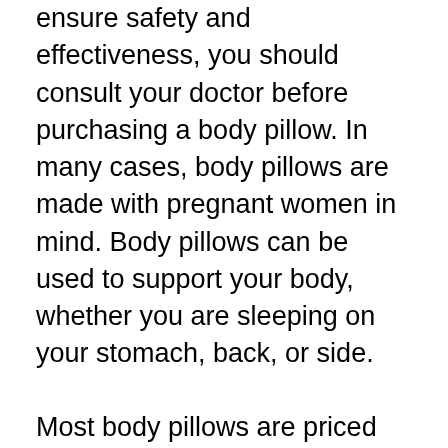ensure safety and effectiveness, you should consult your doctor before purchasing a body pillow. In many cases, body pillows are made with pregnant women in mind. Body pillows can be used to support your body, whether you are sleeping on your stomach, back, or side.
Most body pillows are priced between $20 and $100. While budget models can be purchased for as low as $10, luxury models can cost upwards of $200. The filling material will determine the price. The cheapest pillow will not last as long, so you may want to invest in a higher-quality model. The pillow's performance and life span will be extended if it is made of high-quality materials. However, this may mean that the